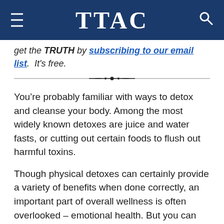TTAC
get the TRUTH by subscribing to our email list. It's free.
[Figure (other): Decorative horizontal divider line with small ornamental diamond and dot motif in the center]
You’re probably familiar with ways to detox and cleanse your body. Among the most widely known detoxes are juice and water fasts, or cutting out certain foods to flush out harmful toxins.
Though physical detoxes can certainly provide a variety of benefits when done correctly, an important part of overall wellness is often overlooked – emotional health. But you can help relieve stress and emotionally detox with a little